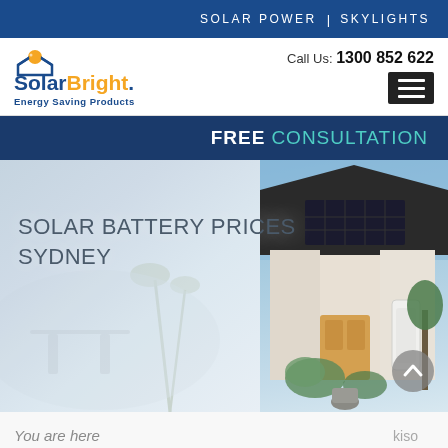SOLAR POWER | SKYLIGHTS
[Figure (logo): SolarBright Energy Saving Products logo with sun/house icon, blue and yellow text]
Call Us: 1300 852 622
FREE CONSULTATION
SOLAR BATTERY PRICES SYDNEY
[Figure (photo): Hero image split: left side faded interior/exterior home photo, right side modern house with solar panels on dark roof and white battery storage unit near front door with plants and greenery]
You are here...
kiso